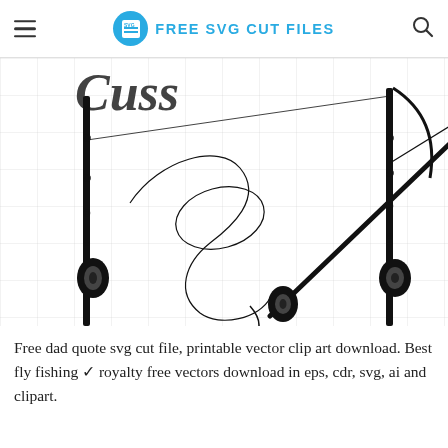FREE SVG CUT FILES
[Figure (illustration): SVG cut files illustration showing fishing rods with reels and fishing line in black silhouette style on a white grid background. Multiple fishing rods are shown at different angles with spinning reels attached. A cursive/script text is partially visible at the top. The image has a checkered grid background.]
Free dad quote svg cut file, printable vector clip art download. Best fly fishing ✓ royalty free vectors download in eps, cdr, svg, ai and clipart.